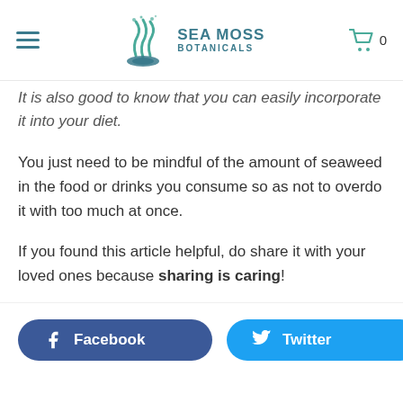SEA MOSS BOTANICALS
It is also good to know that you can easily incorporate it into your diet.
You just need to be mindful of the amount of seaweed in the food or drinks you consume so as not to overdo it with too much at once.
If you found this article helpful, do share it with your loved ones because sharing is caring!
[Figure (other): Facebook and Twitter share buttons at the bottom of the page]